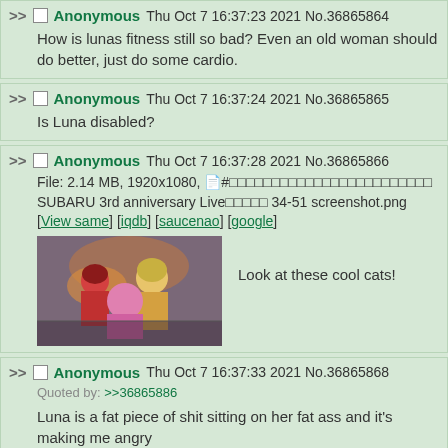Anonymous Thu Oct 7 16:37:23 2021 No.36865864 — How is lunas fitness still so bad? Even an old woman should do better, just do some cardio.
Anonymous Thu Oct 7 16:37:24 2021 No.36865865 — Is Luna disabled?
Anonymous Thu Oct 7 16:37:28 2021 No.36865866 — File: 2.14 MB, 1920x1080, [filename] SUBARU 3rd anniversary Live[chars] 34-51 screenshot.png [View same] [iqdb] [saucenao] [google] — Look at these cool cats!
Anonymous Thu Oct 7 16:37:33 2021 No.36865868 — Quoted by: >>36865886 — Luna is a fat piece of shit sitting on her fat ass and it's making me angry